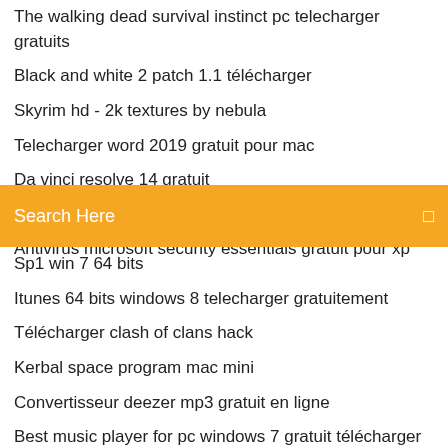The walking dead survival instinct pc telecharger gratuits
Black and white 2 patch 1.1 télécharger
Skyrim hd - 2k textures by nebula
Telecharger word 2019 gratuit pour mac
Da vinci resolve 14 gratuit
Telecharger gratuitement mozilla firefox pour android
Antivirus microsoft security essentials gratuit pour xp
[Figure (screenshot): Orange search bar with text 'Search Here' and a search icon on the right]
Sp1 win 7 64 bits
Itunes 64 bits windows 8 telecharger gratuitement
Télécharger clash of clans hack
Kerbal space program mac mini
Convertisseur deezer mp3 gratuit en ligne
Best music player for pc windows 7 gratuit télécharger
Comment jouer du piano sur pc
Problemas al instalar adobe acrobat reader dc
Call of duty black ops iii xbox 360
Comment telecharger word excel 2019 gratuit